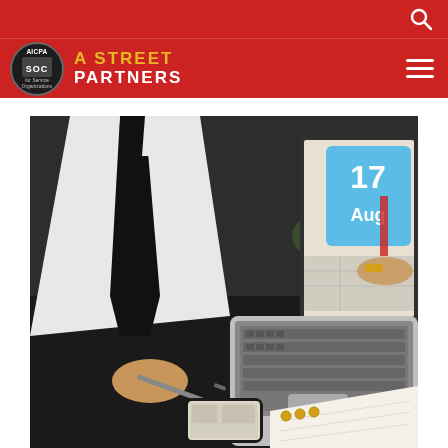A Street Partners - website header with search icon
[Figure (photo): A Street Partners logo with AICPA SOC badge on a red navigation bar with hamburger menu]
[Figure (photo): Business professional in white shirt and black tie working at a desk with a laptop showing a calendar (17 Aug), a smartphone with documents, a pen, and a planner notebook on a dark desk surface]